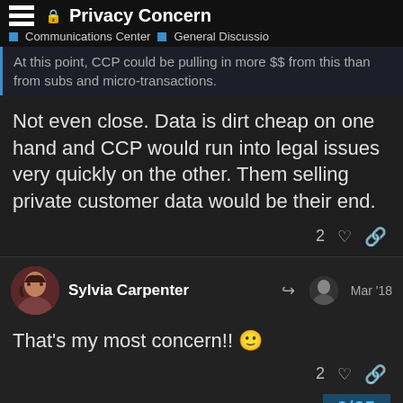Privacy Concern — Communications Center > General Discussion
At this point, CCP could be pulling in more $$ from this than from subs and micro-transactions.
Not even close. Data is dirt cheap on one hand and CCP would run into legal issues very quickly on the other. Them selling private customer data would be their end.
2 ♡ 🔗
Sylvia Carpenter   Mar '18
That's my most concern!! 🙂
2 ♡ 🔗
9/25
Sylvia Carpenter